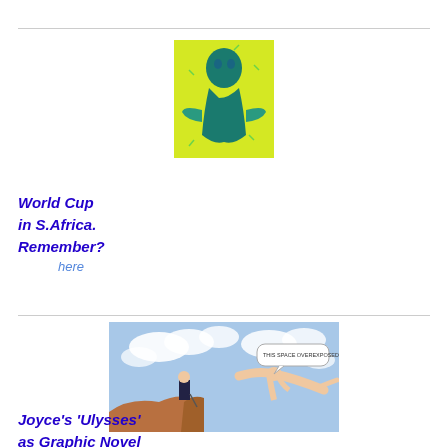[Figure (illustration): A colorful pop-art style illustration on yellow-green background of a stylized human figure holding something, rendered in blue and green tones.]
World Cup in S.Africa. Remember?
here
[Figure (illustration): A comic/graphic novel style illustration showing a nude figure in a diving pose over a cliff edge, with a speech bubble, and a suited man standing on the cliff, set against a cloudy sky background.]
Joyce's 'Ulysses' as Graphic Novel